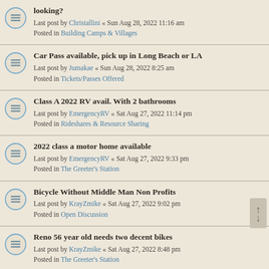looking?
Last post by Christallini « Sun Aug 28, 2022 11:16 am
Posted in Building Camps & Villages
Car Pass available, pick up in Long Beach or LA
Last post by Jumakae « Sun Aug 28, 2022 8:25 am
Posted in Tickets/Passes Offered
Class A 2022 RV avail. With 2 bathrooms
Last post by EmergencyRV « Sat Aug 27, 2022 11:14 pm
Posted in Rideshares & Resource Sharing
2022 class a motor home available
Last post by EmergencyRV « Sat Aug 27, 2022 9:33 pm
Posted in The Greeter's Station
Bicycle Without Middle Man Non Profits
Last post by KrayZmike « Sat Aug 27, 2022 9:02 pm
Posted in Open Discussion
Reno 56 year old needs two decent bikes
Last post by KrayZmike « Sat Aug 27, 2022 8:48 pm
Posted in The Greeter's Station